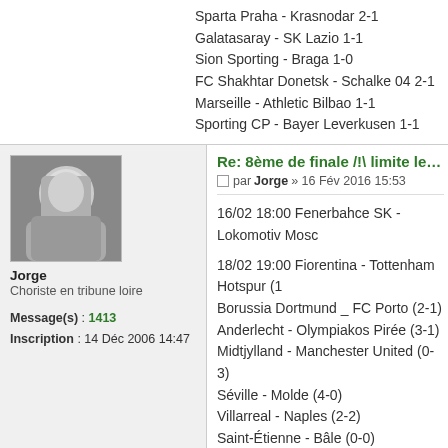Sparta Praha - Krasnodar 2-1
Galatasaray - SK Lazio 1-1
Sion Sporting - Braga 1-0
FC Shakhtar Donetsk - Schalke 04 2-1
Marseille - Athletic Bilbao 1-1
Sporting CP - Bayer Leverkusen 1-1
Re: 8ème de finale /!\ limite le 16/02 à
par Jorge » 16 Fév 2016 15:53
16/02 18:00 Fenerbahce SK - Lokomotiv Mosc
18/02 19:00 Fiorentina - Tottenham Hotspur (1
Borussia Dortmund _ FC Porto (2-1)
Anderlecht - Olympiakos Pirée (3-1)
Midtjylland - Manchester United (0-3)
Séville - Molde (4-0)
Villarreal - Naples (2-2)
Saint-Étienne - Bâle (0-0)
21:05 Valence - Rapid Vienne (1-1)
Augsbourg - Liverpool (1-1)
Sparta Praha - Krasnodar (3-1)
Galatasaray - SK Lazio (1-2)
Sion Sporting - Braga (1-1)